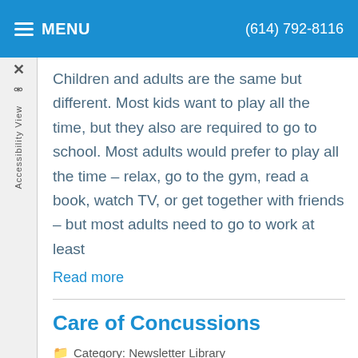MENU | (614) 792-8116
Children and adults are the same but different. Most kids want to play all the time, but they also are required to go to school. Most adults would prefer to play all the time – relax, go to the gym, read a book, watch TV, or get together with friends – but most adults need to go to work at least
Read more
Care of Concussions
Category: Newsletter Library
[Figure (photo): A football player in red uniform and helmet crouching on a field]